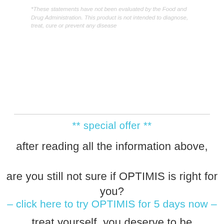*These statements have not been evaluated by the Food and Drug Administration. This product is not intended to diagnose, treat, cure or prevent any disease
** special offer **
after reading all the information above,
are you still not sure if OPTIMIS is right for you?
– click here to try OPTIMIS for 5 days now –
treat yourself. you deserve to be